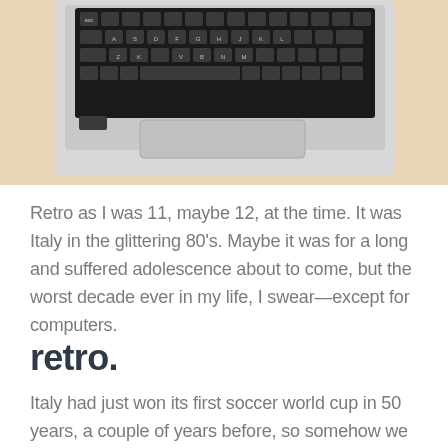[Figure (photo): Top-down photograph of a laptop keyboard on a wooden/beige desk surface, showing the keyboard and trackpad area]
Retro as I was 11, maybe 12, at the time. It was Italy in the glittering 80's. Maybe it was for a long and suffered adolescence about to come, but the worst decade ever in my life, I swear—except for computers.
retro.
Italy had just won its first soccer world cup in 50 years, a couple of years before, so somehow we could feel important again. Despite we have had